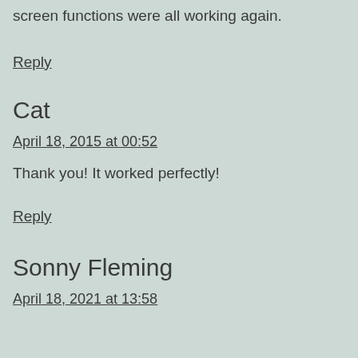screen functions were all working again.
Reply
Cat
April 18, 2015 at 00:52
Thank you! It worked perfectly!
Reply
Sonny Fleming
April 18, 2021 at 13:58